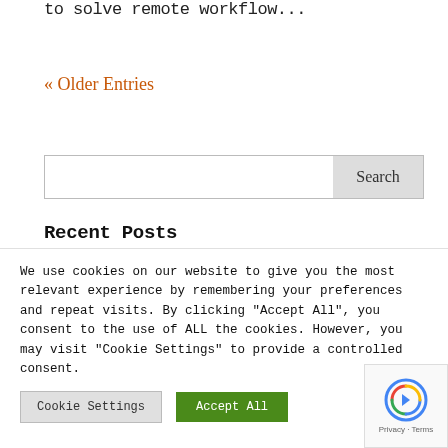to solve remote workflow...
« Older Entries
[Figure (other): Search input box with Search button]
Recent Posts
We use cookies on our website to give you the most relevant experience by remembering your preferences and repeat visits. By clicking "Accept All", you consent to the use of ALL the cookies. However, you may visit "Cookie Settings" to provide a controlled consent.
[Figure (other): Cookie Settings button and Accept All button, with reCAPTCHA widget on the right]